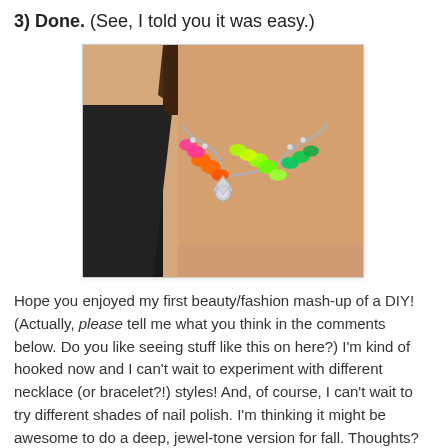3) Done. (See, I told you it was easy.)
[Figure (photo): A person wearing a colorful necklace with neon orange, pink, green, and teal stone elements arranged symmetrically around a central crystal/rhinestone pendant piece, worn over a black top.]
Hope you enjoyed my first beauty/fashion mash-up of a DIY! (Actually, please tell me what you think in the comments below. Do you like seeing stuff like this on here?) I'm kind of hooked now and I can't wait to experiment with different necklace (or bracelet?!) styles! And, of course, I can't wait to try different shades of nail polish. I'm thinking it might be awesome to do a deep, jewel-tone version for fall. Thoughts?